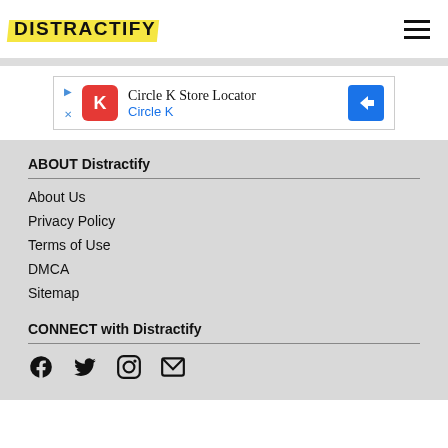DISTRACTIFY
[Figure (other): Circle K Store Locator advertisement banner with Circle K logo and blue navigation arrow icon]
ABOUT Distractify
About Us
Privacy Policy
Terms of Use
DMCA
Sitemap
CONNECT with Distractify
[Figure (other): Social media icons: Facebook, Twitter, Instagram, Email]